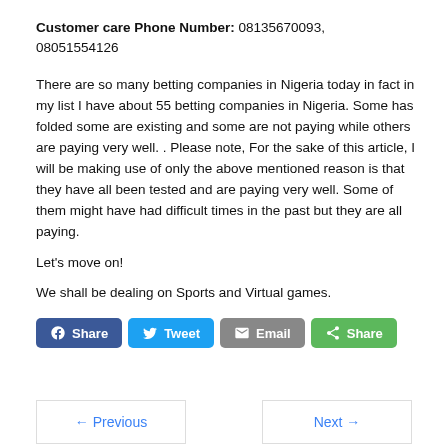Customer care Phone Number: 08135670093, 08051554126
There are so many betting companies in Nigeria today in fact in my list I have about 55 betting companies in Nigeria. Some has folded some are existing and some are not paying while others are paying very well. . Please note, For the sake of this article, I will be making use of only the above mentioned reason is that they have all been tested and are paying very well. Some of them might have had difficult times in the past but they are all paying.
Let's move on!
We shall be dealing on Sports and Virtual games.
[Figure (other): Social share buttons: Facebook Share, Tweet, Email, Share]
← Previous    Next →